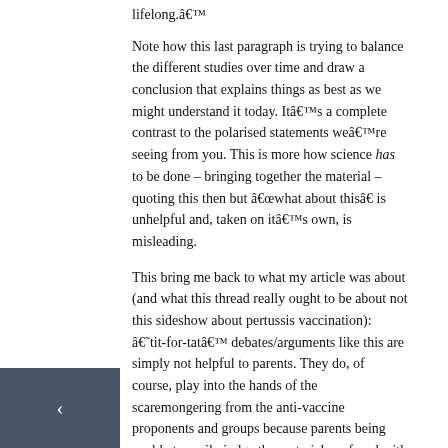lifelong.â€™
Note how this last paragraph is trying to balance the different studies over time and draw a conclusion that explains things as best as we might understand it today. Itâ€™s a complete contrast to the polarised statements weâ€™re seeing from you. This is more how science has to be done – bringing together the material – quoting this then but â€œwhat about thisâ€ is unhelpful and, taken on itâ€™s own, is misleading.
This bring me back to what my article was about (and what this thread really ought to be about not this sideshow about pertussis vaccination): â€˜tit-for-tatâ€™ debates/arguments like this are simply not helpful to parents. They do, of course, play into the hands of the scaremongering from the anti-vaccine proponents and groups because parents being unable to easily judge the material are faced with confusion. Put another way, in repeatedly offering â€œwhat aboutâ€ the old FUD [â€˜fear…